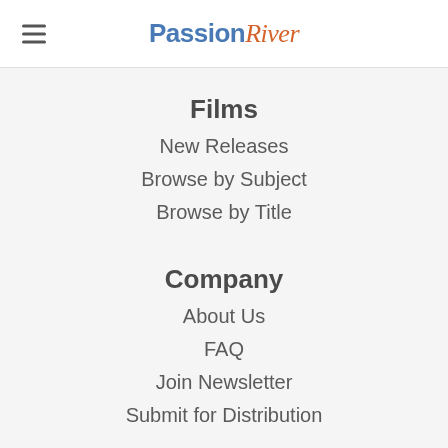PassionRiver
Films
New Releases
Browse by Subject
Browse by Title
Company
About Us
FAQ
Join Newsletter
Submit for Distribution